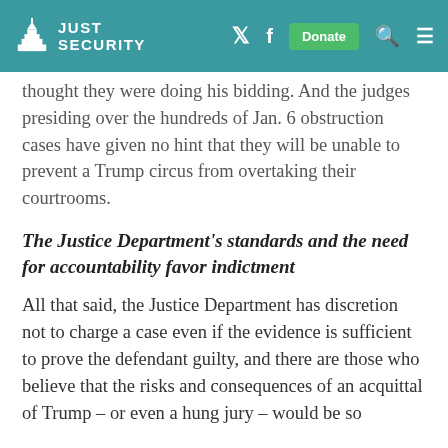JUST SECURITY
thought they were doing his bidding. And the judges presiding over the hundreds of Jan. 6 obstruction cases have given no hint that they will be unable to prevent a Trump circus from overtaking their courtrooms.
The Justice Department's standards and the need for accountability favor indictment
All that said, the Justice Department has discretion not to charge a case even if the evidence is sufficient to prove the defendant guilty, and there are those who believe that the risks and consequences of an acquittal of Trump – or even a hung jury – would be so